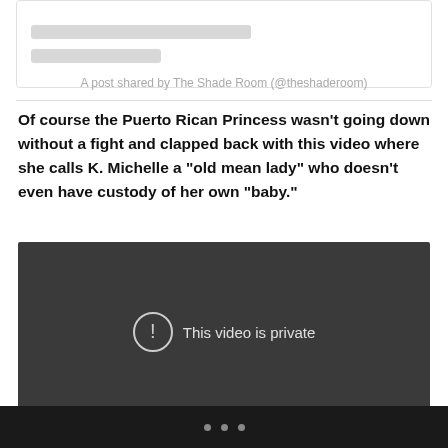[Figure (screenshot): Instagram embed placeholder with two grey loading bars]
A post shared by The Shade Room (@theshaderoom)
Of course the Puerto Rican Princess wasn’t going down without a fight and clapped back with this video where she calls K. Michelle a “old mean lady” who doesn’t even have custody of her own “baby.”
[Figure (screenshot): Embedded video player showing 'This video is private' message on dark background]
• • •